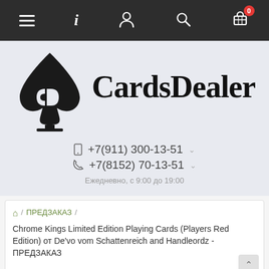Navigation bar with menu, info, account, search, and cart (0) icons
[Figure (logo): CardsDealer logo: stylized spade/CD symbol on the left and 'CardsDealer' serif text on the right, on a light blue-gray background]
+7(911) 300-13-51
+7(8152) 70-13-51
Ежедневно, с 9:00 до 19:00
🏠 / ПРЕДЗАКАЗ / Chrome Kings Limited Edition Playing Cards (Players Red Edition) от De'vo vom Schattenreich and Handleordz - ПРЕДЗАКАЗ